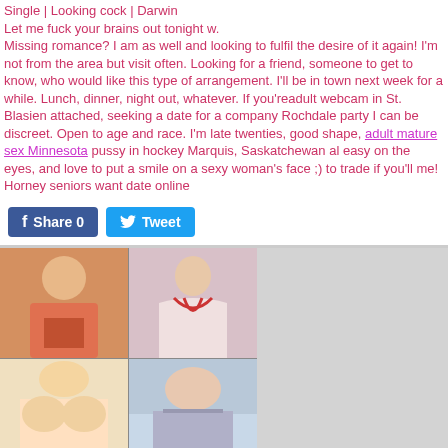Single | Looking cock | Darwin
Let me fuck your brains out tonight w.
Missing romance? I am as well and looking to fulfil the desire of it again! I'm not from the area but visit often. Looking for a friend, someone to get to know, who would like this type of arrangement. I'll be in town next week for a while. Lunch, dinner, night out, whatever. If you'readult webcam in St. Blasien attached, seeking a date for a company Rochdale party I can be discreet. Open to age and race. I'm late twenties, good shape, adult mature sex Minnesota pussy in hockey Marquis, Saskatchewan al easy on the eyes, and love to put a smile on a sexy woman's face ;) to trade if you'll me! Horney seniors want date online
[Figure (other): Facebook Share button and Twitter Tweet button]
[Figure (photo): Grid of four photos of women]
Shauna & I search dating
Little lonely seeing if anybody wants to hang out, sexy guys? I just want a sexy gu